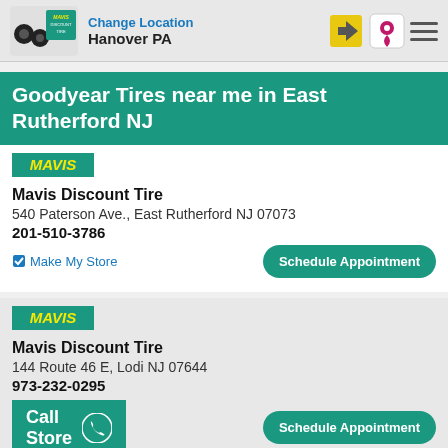Change Location | Hanover PA
Goodyear Tires near me in East Rutherford NJ
[Figure (logo): Mavis badge logo (teal background, yellow MAVIS text)]
Mavis Discount Tire
540 Paterson Ave., East Rutherford NJ 07073
201-510-3786
Make My Store
Schedule Appointment
[Figure (logo): Mavis badge logo (teal background, yellow MAVIS text)]
Mavis Discount Tire
144 Route 46 E, Lodi NJ 07644
973-232-0295
Call Store
Schedule Appointment